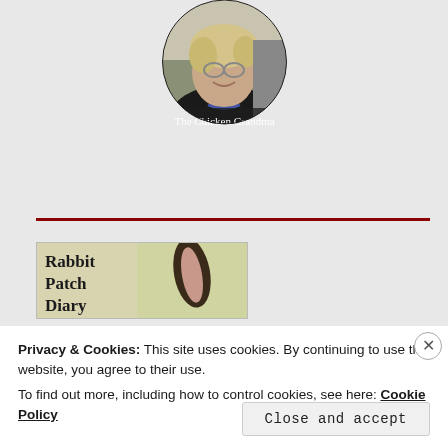[Figure (photo): Circular profile photo of a smiling woman with blonde/gray hair and glasses wearing a dark top with a beaded necklace, labeled 'The Chicken Grandma' at the bottom]
[Figure (illustration): Book cover showing text 'Rabbit Patch Diary' with an illustration of a rabbit ear on a light colored background]
Privacy & Cookies: This site uses cookies. By continuing to use this website, you agree to their use.
To find out more, including how to control cookies, see here: Cookie Policy
Close and accept